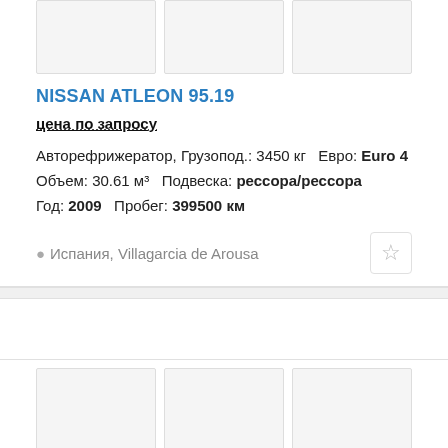[Figure (photo): Three image placeholders at the top of a vehicle listing card]
NISSAN ATLEON 95.19
цена по запросу
Авторефрижератор, Грузопод.: 3450 кг  Евро: Euro 4
Объем: 30.61 м³  Подвеска: рессора/рессора
Год: 2009  Пробег: 399500 км
Испания, Villagarcia de Arousa
[Figure (photo): Three image placeholders at the bottom of a vehicle listing card]